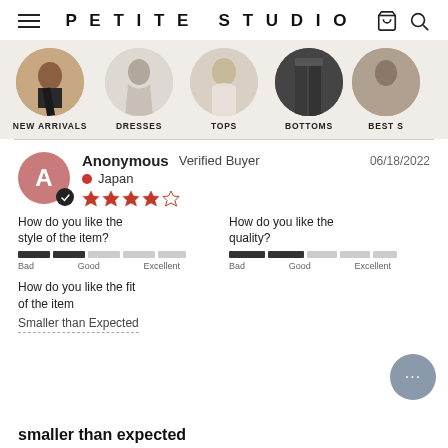PETITE STUDiO
[Figure (screenshot): Category navigation strip with circular thumbnail images: NEW ARRIVALS, DRESSES, TOPS, BOTTOMS, BEST S...]
Anonymous  Verified Buyer  06/18/2022
● Japan
★★★★☆
How do you like the style of the item?
Bad  Good  Excellent
How do you like the quality?
Bad  Good  Excellent
How do you like the fit of the item
Smaller than Expected
smaller than expected